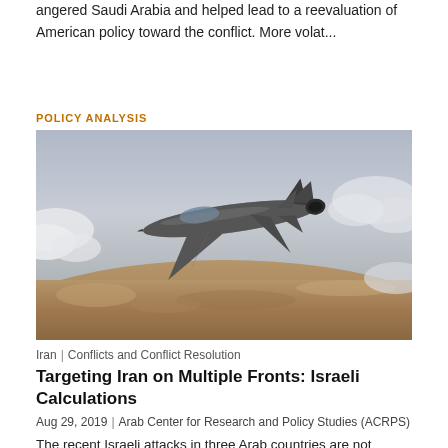angered Saudi Arabia and helped lead to a reevaluation of American policy toward the conflict. More volat...
POLICY ANALYSIS
[Figure (photo): F-35 stealth fighter jet flying over arid terrain with clouds in the background]
Iran | Conflicts and Conflict Resolution
Targeting Iran on Multiple Fronts: Israeli Calculations
Aug 29, 2019 | Arab Center for Research and Policy Studies (ACRPS)
The recent Israeli attacks in three Arab countries are not expected to lead to a major confrontation, at least at this